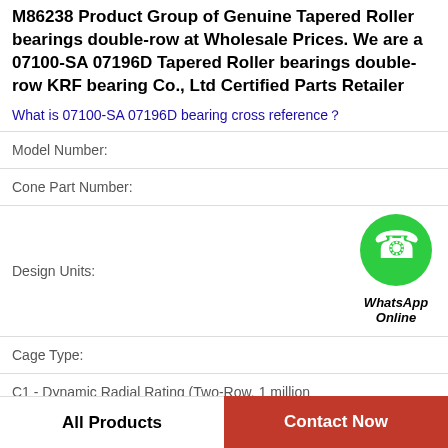M86238 Product Group of Genuine Tapered Roller bearings double-row at Wholesale Prices. We are a 07100-SA 07196D Tapered Roller bearings double-row KRF bearing Co., Ltd Certified Parts Retailer
What is 07100-SA 07196D bearing cross reference？
| Field | Value |
| --- | --- |
| Model Number: |  |
| Cone Part Number: |  |
| Design Units: |  |
| Cage Type: |  |
| C1 - Dynamic Radial Rating (Two-Row, 1 million revolutions)1: |  |
| C90(2) - Dynamic Radial Rating (Two-Row, 90 million revolutions)2: |  |
| d: |  |
[Figure (other): WhatsApp Online contact icon - green circle with phone handset icon, labeled WhatsApp Online]
All Products
Contact Now